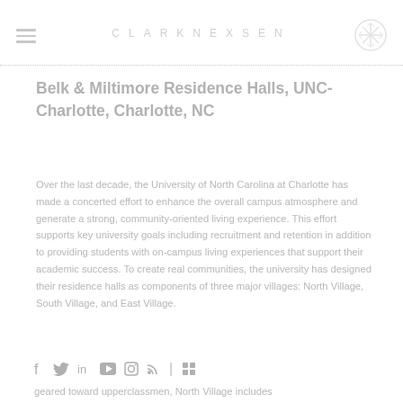CLARKNEXSEN
Belk & Miltimore Residence Halls, UNC-Charlotte, Charlotte, NC
Over the last decade, the University of North Carolina at Charlotte has made a concerted effort to enhance the overall campus atmosphere and generate a strong, community-oriented living experience. This effort supports key university goals including recruitment and retention in addition to providing students with on-campus living experiences that support their academic success. To create real communities, the university has designed their residence halls as components of three major villages: North Village, South Village, and East Village.
geared toward upperclassmen, North Village includes